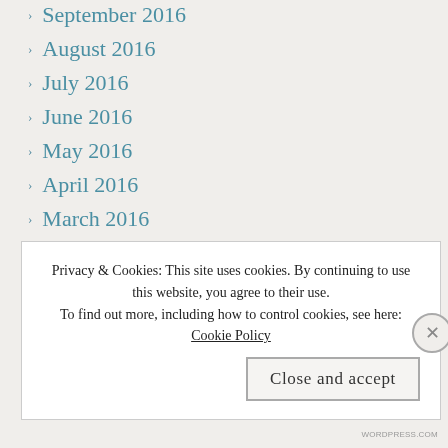September 2016
August 2016
July 2016
June 2016
May 2016
April 2016
March 2016
February 2016
January 2016
December 2015
November 2015
October 2015
Privacy & Cookies: This site uses cookies. By continuing to use this website, you agree to their use. To find out more, including how to control cookies, see here: Cookie Policy
WORDPRESS.COM